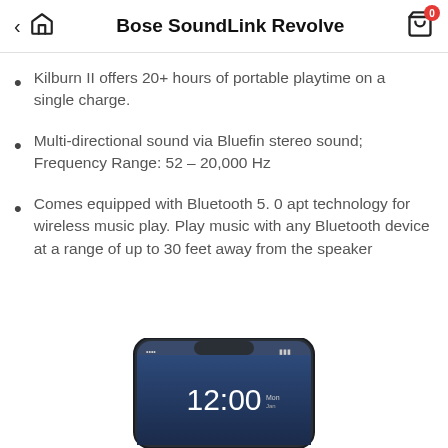Bose SoundLink Revolve
Kilburn II offers 20+ hours of portable playtime on a single charge.
Multi-directional sound via Bluefin stereo sound; Frequency Range: 52 – 20,000 Hz
Comes equipped with Bluetooth 5. 0 apt technology for wireless music play. Play music with any Bluetooth device at a range of up to 30 feet away from the speaker
[Figure (screenshot): Bottom portion of a smartphone screen showing a lock screen with time 12:00]